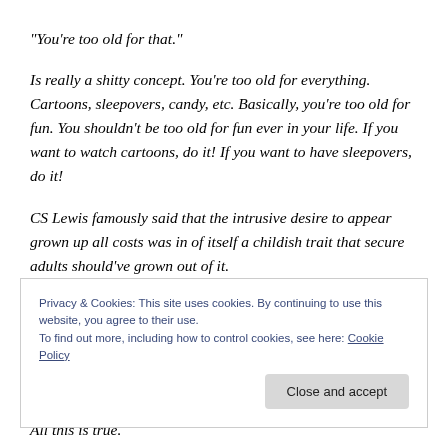“You’re too old for that.”
Is really a shitty concept. You’re too old for everything. Cartoons, sleepovers, candy, etc. Basically, you’re too old for fun. You shouldn’t be too old for fun ever in your life. If you want to watch cartoons, do it! If you want to have sleepovers, do it!
CS Lewis famously said that the intrusive desire to appear grown up all costs was in of itself a childish trait that secure adults should’ve grown out of it.
Privacy & Cookies: This site uses cookies. By continuing to use this website, you agree to their use.
To find out more, including how to control cookies, see here: Cookie Policy
All this is true.